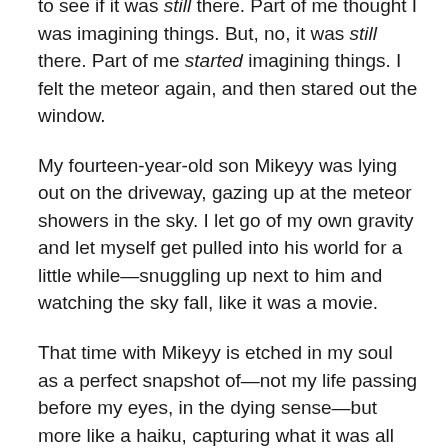to see if it was still there. Part of me thought I was imagining things. But, no, it was still there. Part of me started imagining things. I felt the meteor again, and then stared out the window.
My fourteen-year-old son Mikeyy was lying out on the driveway, gazing up at the meteor showers in the sky. I let go of my own gravity and let myself get pulled into his world for a little while—snuggling up next to him and watching the sky fall, like it was a movie.
That time with Mikeyy is etched in my soul as a perfect snapshot of—not my life passing before my eyes, in the dying sense—but more like a haiku, capturing what it was all about.